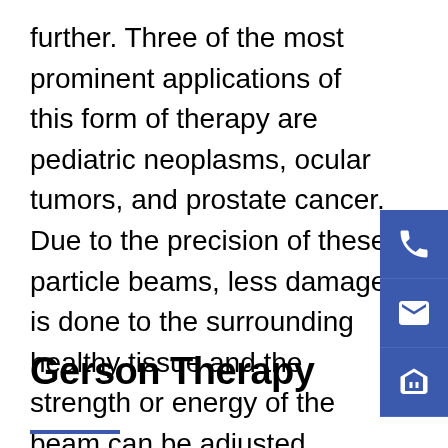further. Three of the most prominent applications of this form of therapy are pediatric neoplasms, ocular tumors, and prostate cancer. Due to the precision of these particle beams, less damage is done to the surrounding healthy tissue and the strength or energy of the beam can be adjusted depending on how close the tumor is to the surface of the skin. The closer the tumor is to the surface of the skin, the less energy is required and in turn, less damage is done to the surrounding areas.
Gerson Therapy